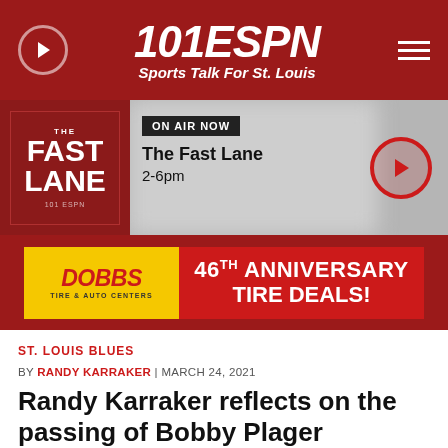101 ESPN Sports Talk For St. Louis
[Figure (screenshot): On Air Now section showing The Fast Lane 2-6pm with thumbnail and play button]
[Figure (infographic): Dobbs Tire & Auto Centers 46th Anniversary Tire Deals advertisement banner]
ST. LOUIS BLUES
BY RANDY KARRAKER | MARCH 24, 2021
Randy Karraker reflects on the passing of Bobby Plager
SHARE: